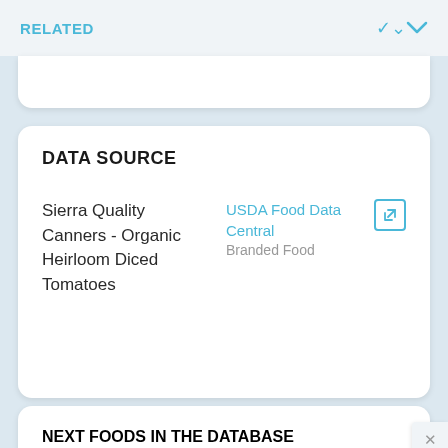RELATED
DATA SOURCE
Sierra Quality Canners - Organic Heirloom Diced Tomatoes
USDA Food Data Central
Branded Food
NEXT FOODS IN THE DATABASE
S'mores - Milk Chocolate Bar Kit